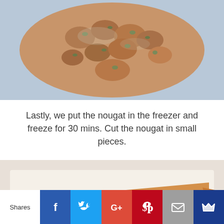[Figure (photo): Close-up photo of nougat mixture being prepared, showing chunky texture with nuts/seeds in a light golden sauce on a blue surface]
Lastly, we put the nougat in the freezer and freeze for 30 mins. Cut the nougat in small pieces.
[Figure (photo): Photo of a wedge/slice of nougat with oats and nuts on white parchment paper showing layered cross-section]
Shares | Facebook | Twitter | Google+ | Pinterest | Email | Crown